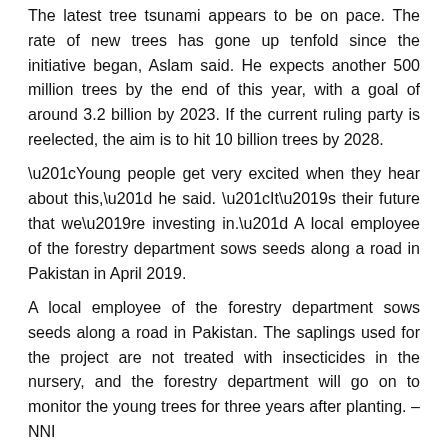The latest tree tsunami appears to be on pace. The rate of new trees has gone up tenfold since the initiative began, Aslam said. He expects another 500 million trees by the end of this year, with a goal of around 3.2 billion by 2023. If the current ruling party is reelected, the aim is to hit 10 billion trees by 2028.
“Young people get very excited when they hear about this,” he said. “It’s their future that we’re investing in.” A local employee of the forestry department sows seeds along a road in Pakistan in April 2019.
A local employee of the forestry department sows seeds along a road in Pakistan. The saplings used for the project are not treated with insecticides in the nursery, and the forestry department will go on to monitor the young trees for three years after planting. – NNI